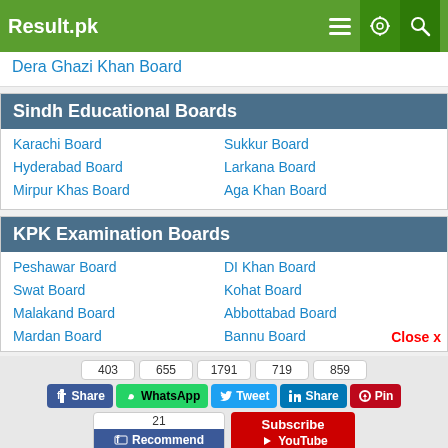Result.pk
Dera Ghazi Khan Board
Sindh Educational Boards
Karachi Board
Sukkur Board
Hyderabad Board
Larkana Board
Mirpur Khas Board
Aga Khan Board
KPK Examination Boards
Peshawar Board
DI Khan Board
Swat Board
Kohat Board
Malakand Board
Abbottabad Board
Mardan Board
Bannu Board
403 | 655 | 1791 | 719 | 859
Share | WhatsApp | Tweet | Share | Pin
21 | Recommend | Subscribe | YouTube
Admissions | News | Scholarships | Schools | Colleges | Merit Calculator | Ranking